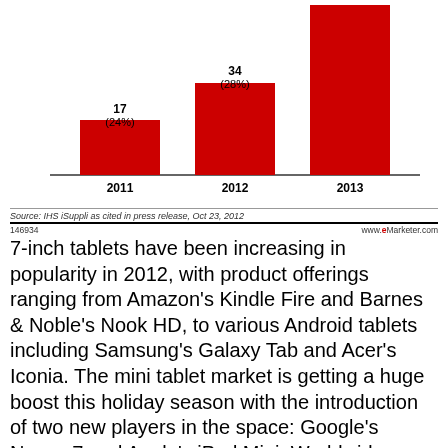[Figure (bar-chart): 7-inch tablet shipments]
Source: IHS iSuppli as cited in press release, Oct 23, 2012
146934   www.eMarketer.com
7-inch tablets have been increasing in popularity in 2012, with product offerings ranging from Amazon's Kindle Fire and Barnes & Noble's Nook HD, to various Android tablets including Samsung's Galaxy Tab and Acer's Iconia. The mini tablet market is getting a huge boost this holiday season with the introduction of two new players in the space: Google's Nexus 7 and Apple's iPad Mini. Worldwide shipments of 7-inch tablets are expected to double this year as a result of these new products, lower price points, and the continued popularity of tablets.